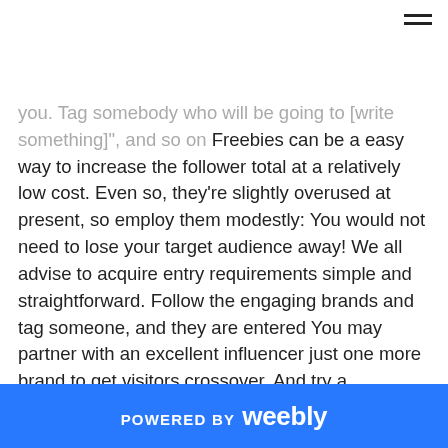you. Tag somebody who will be going to [write something]", and so on Freebies can be a easy way to increase the follower total at a relatively low cost. Even so, they're slightly overused at present, so employ them modestly: You would not need to lose your target audience away! We all advise to acquire entry requirements simple and straightforward. Follow the engaging brands and tag someone, and they are entered You may partner with an excellent influencer just one more brand to get visitors crossover. And try a competition instead of a no cost items. You should not get all the entries but those who a couple of you might be more than likely to stick about Watch out for changer special offer plans, known as hook free gifts Referring to influencers and giveaways... makes have to get clever and prevent chnger events that appear as well great
POWERED BY weebly